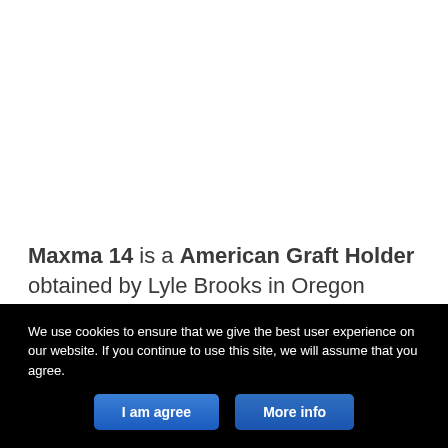Maxma 14 is a American Graft Holder obtained by Lyle Brooks in Oregon (Forest Grove Nursery
We use cookies to ensure that we give the best user experience on our website. If you continue to use this site, we will assume that you agree.